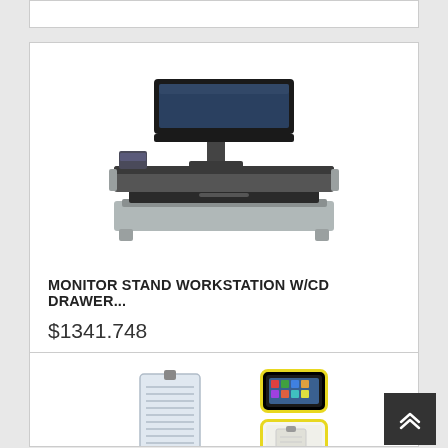[Figure (photo): Partial product card cut off at top of page]
[Figure (photo): Monitor Stand Workstation with CD drawer - product photo showing black monitor stand with a flat-screen monitor on top]
MONITOR STAND WORKSTATION W/CD DRAWER...
$1341.748
[Figure (photo): Second product card showing a document holder/tablet stand accessory with iPad and document clip inset images]